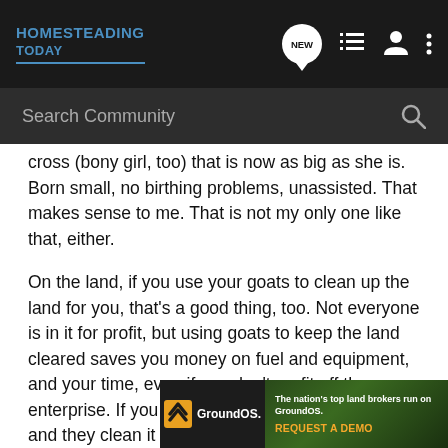HOMESTEADING TODAY
cross (bony girl, too) that is now as big as she is. Born small, no birthing problems, unassisted. That makes sense to me. That is not my only one like that, either.
On the land, if you use your goats to clean up the land for you, that's a good thing, too. Not everyone is in it for profit, but using goats to keep the land cleared saves you money on fuel and equipment, and your time, even if you don't profit off the enterprise. If you buy overgrown land and fence it, and they clean it up for you, they are also increasing its value.
That's what I am doing. I seek to profit from the goats, but I also am using them to clean up land that will one day be a subdivis...
[Figure (screenshot): GroundOS advertisement banner: 'The nation's top land brokers run on GroundOS. REQUEST A DEMO']